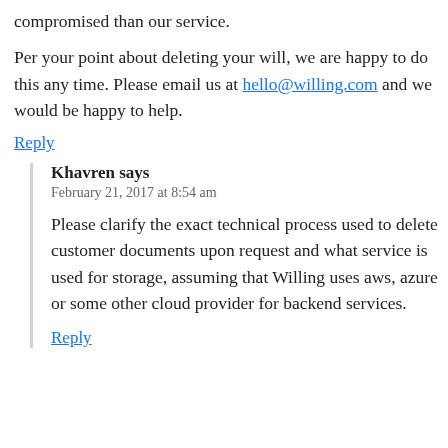compromised than our service.
Per your point about deleting your will, we are happy to do this any time. Please email us at hello@willing.com and we would be happy to help.
Reply
Khavren says
February 21, 2017 at 8:54 am
Please clarify the exact technical process used to delete customer documents upon request and what service is used for storage, assuming that Willing uses aws, azure or some other cloud provider for backend services.
Reply